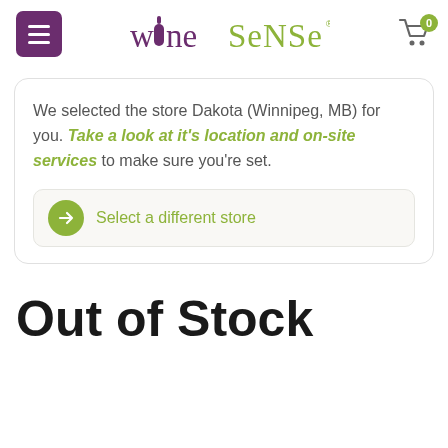Wine Sense
We selected the store Dakota (Winnipeg, MB) for you. Take a look at it's location and on-site services to make sure you're set.
Select a different store
Out of Stock